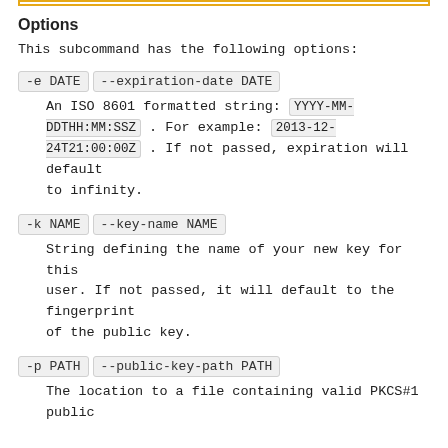Options
This subcommand has the following options:
-e DATE  --expiration-date DATE
An ISO 8601 formatted string: YYYY-MM-DDTHH:MM:SSZ . For example: 2013-12-24T21:00:00Z . If not passed, expiration will default to infinity.
-k NAME  --key-name NAME
String defining the name of your new key for this user. If not passed, it will default to the fingerprint of the public key.
-p PATH  --public-key-path PATH
The location to a file containing valid PKCS#1 public